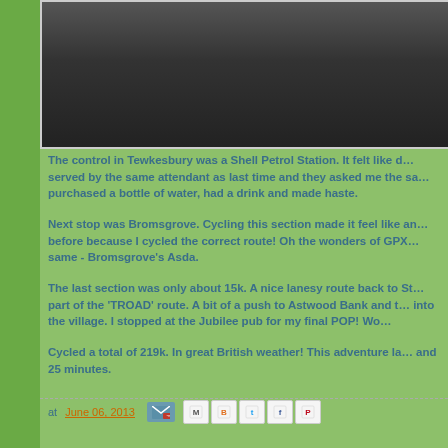[Figure (photo): Aerial or landscape photograph showing dark water or road surface, grayscale tones]
The control in Tewkesbury was a Shell Petrol Station. It felt like d… served by the same attendant as last time and they asked me the sa… purchased a bottle of water, had a drink and made haste.
Next stop was Bromsgrove. Cycling this section made it feel like an… before because I cycled the correct route! Oh the wonders of GPX… same - Bromsgrove's Asda.
The last section was only about 15k. A nice lanesy route back to St… part of the 'TROAD' route. A bit of a push to Astwood Bank and t… into the village. I stopped at the Jubilee pub for my final POP! Wo…
Cycled a total of 219k. In great British weather! This adventure la… and 25 minutes.
at June 06, 2013